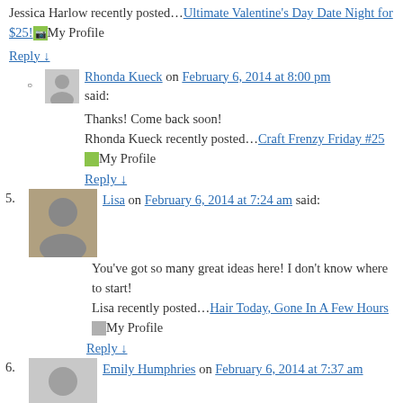Jessica Harlow recently posted…Ultimate Valentine's Day Date Night for $25! My Profile
Reply ↓
Rhonda Kueck on February 6, 2014 at 8:00 pm said: Thanks! Come back soon! Rhonda Kueck recently posted…Craft Frenzy Friday #25 My Profile
Reply ↓
5. Lisa on February 6, 2014 at 7:24 am said: You've got so many great ideas here! I don't know where to start! Lisa recently posted…Hair Today, Gone In A Few Hours My Profile
Reply ↓
6. Emily Humphries on February 6, 2014 at 7:37 am said: